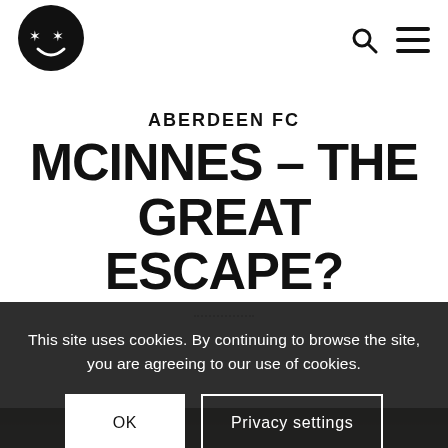[Figure (logo): Round black circle logo with star-eyes smiley face (two stars as eyes, curved smile)]
[Figure (other): Search icon (magnifying glass) and hamburger menu icon in top right navigation]
ABERDEEN FC
MCINNES – THE GREAT ESCAPE?
This site uses cookies. By continuing to browse the site, you are agreeing to our use of cookies.
OK
Privacy settings
[Figure (photo): Dark photograph at bottom showing what appears to be motorcycles or figures on a dark background]